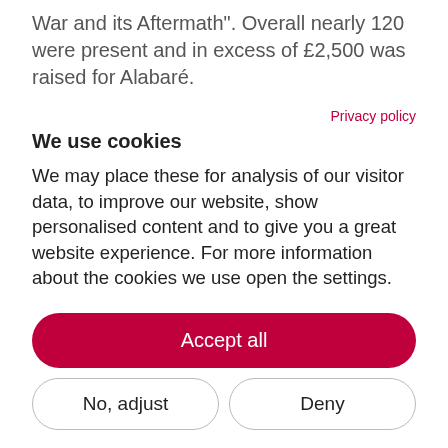War and its Aftermath". Overall nearly 120 were present and in excess of £2,500 was raised for Alabaré.
The official guests were the Mayor of Salisbury, Derek Brown OBE, Brigadier Hodder, CEO of the Wessex Reserve Forces Cadets Association, Wing Commander Vincent Thomas, Second in Command at Boscombe Down and Major Richard Rimmington MBE, Royal Logistic Corp. The
Privacy policy
We use cookies
We may place these for analysis of our visitor data, to improve our website, show personalised content and to give you a great website experience. For more information about the cookies we use open the settings.
Accept all
No, adjust
Deny